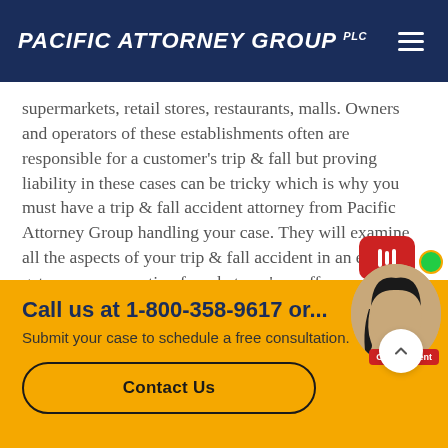PACIFIC ATTORNEY GROUP PLC
supermarkets, retail stores, restaurants, malls. Owners and operators of these establishments often are responsible for a customer's trip & fall but proving liability in these cases can be tricky which is why you must have a trip & fall accident attorney from Pacific Attorney Group handling your case. They will examine all the aspects of your trip & fall accident in an effort to get you compensation for what you've suff...
Call us at 1-800-358-9617 or...
Submit your case to schedule a free consultation.
Contact Us
[Figure (photo): Online Agent chat widget with female agent photo, red chat bubble with bars icon, green online indicator dot, red 'Online Agent' label, and white scroll-up button]